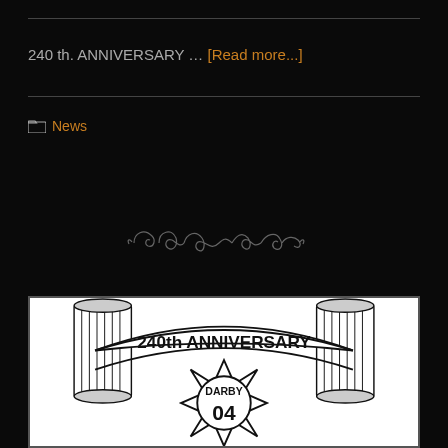240 th. ANNIVERSARY … [Read more...]
News
[Figure (illustration): Decorative ornamental divider swirl]
[Figure (illustration): 240th Anniversary Darby Fire Company logo/poster with banner and firefighter maltese cross emblem]